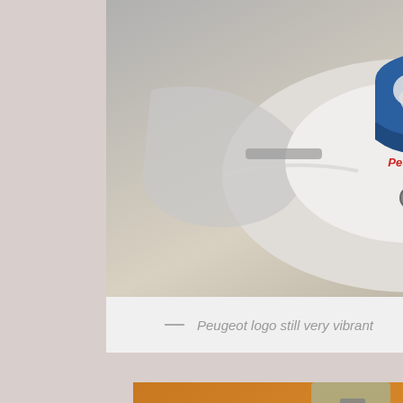[Figure (photo): Close-up photo of a bicycle stem/handlebar area showing a white Peugeot logo badge with blue lion shield emblem. The handlebars are chrome/silver and the background shows parts of the bicycle frame.]
— Peugeot logo still very vibrant
[Figure (photo): Close-up photo of a bicycle fork crown/steerer tube against an orange/amber background. The silver metallic tube shows a clamp mechanism at top and black band markings near the bottom. Fork blades are visible curving away.]